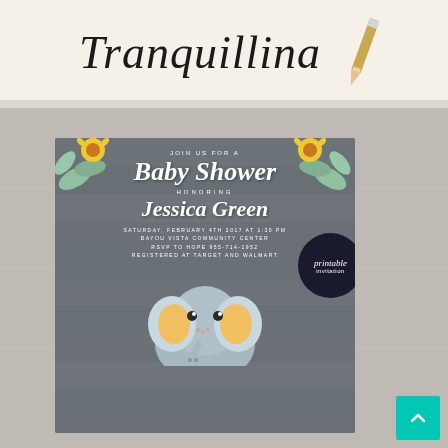[Figure (illustration): Top section with cursive script text 'Tranquillina' on cream/off-white background with a pencil in upper right corner]
[Figure (illustration): Baby shower invitation card on rustic gray wood plank background. Card shows: 'JOIN US FOR A Baby Shower HONORING Jessica Green SATURDAY, FEBRUARY 4TH 2017 AT 1:30 PM BAYOU VISTA COMMUNITY CENTER RSVP TO HOPE 955-714-1952 REGISTERED AT TARGET AND WALMART' with sunflower decorations at corners, a 'printable invitation' badge, and a cute elephant cartoon at the bottom. Background is gray stone/concrete texture.]
[Figure (illustration): Teal/turquoise back-to-top arrow button in bottom right corner]